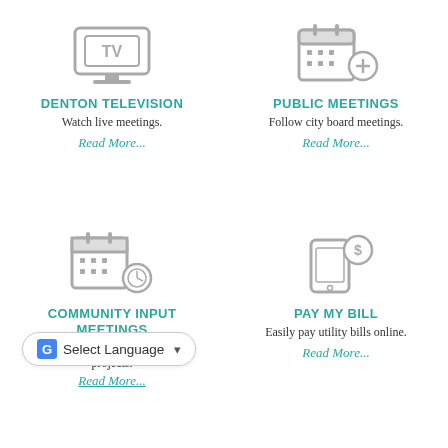[Figure (illustration): TV / monitor icon with 'TV' text on screen, gray outline style]
DENTON TELEVISION
Watch live meetings.
Read More...
[Figure (illustration): Calendar with a plus/add icon badge, gray outline style]
PUBLIC MEETINGS
Follow city board meetings.
Read More...
[Figure (illustration): Calendar with a clock icon, gray outline style]
COMMUNITY INPUT MEETINGS
Share feedback on projects.
Read More...
[Figure (illustration): Mobile phone/tablet with dollar sign icon, gray outline style]
PAY MY BILL
Easily pay utility bills online.
Read More...